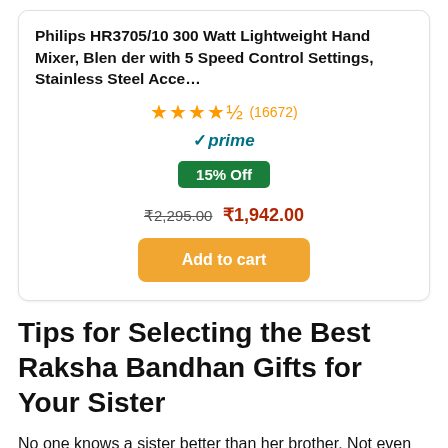[Figure (screenshot): Amazon product card for Philips HR3705/10 Hand Mixer showing rating 4.5 stars (16672 reviews), Prime badge, 15% Off badge, original price ₹2,295.00, sale price ₹1,942.00, and Add to cart button]
Tips for Selecting the Best Raksha Bandhan Gifts for Your Sister
No one knows a sister better than her brother. Not even her closest friends. Around you, she is completely herself, no pretending, no hiding. Whether it is sharing secrets or willing...